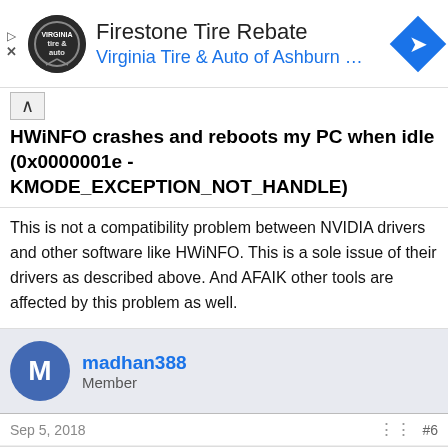[Figure (other): Firestone Tire Rebate advertisement banner with Virginia Tire & Auto of Ashburn logo and navigation icon]
HWiNFO crashes and reboots my PC when idle (0x0000001e - KMODE_EXCEPTION_NOT_HANDLE)
This is not a compatibility problem between NVIDIA drivers and other software like HWiNFO. This is a sole issue of their drivers as described above. And AFAIK other tools are affected by this problem as well.
madhan388
Member
Sep 5, 2018   #6
This site uses cookies to help personalise content, tailor your experience and to keep you logged in if you register.
By continuing to use this site, you are consenting to our use of cookies.